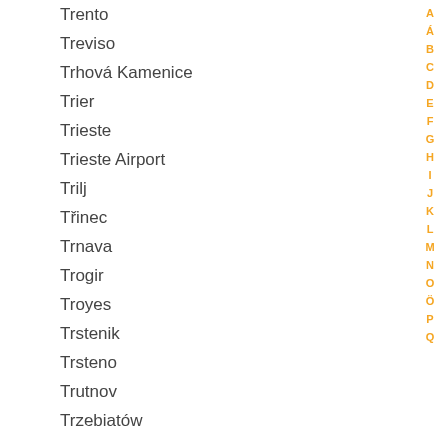Trento
Treviso
Trhová Kamenice
Trier
Trieste
Trieste Airport
Trilj
Třinec
Trnava
Trogir
Troyes
Trstenik
Trsteno
Trutnov
Trzebiatów